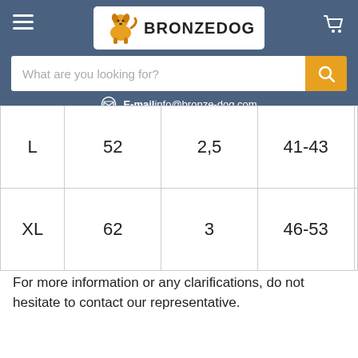BRONZEDOG — E-mail info@bronze-dog.com
|  |  |  |  |  |
| --- | --- | --- | --- | --- |
| L | 52 | 2,5 | 41-43 |  |
| XL | 62 | 3 | 46-53 |  |
For more information or any clarifications, do not hesitate to contact our representative.